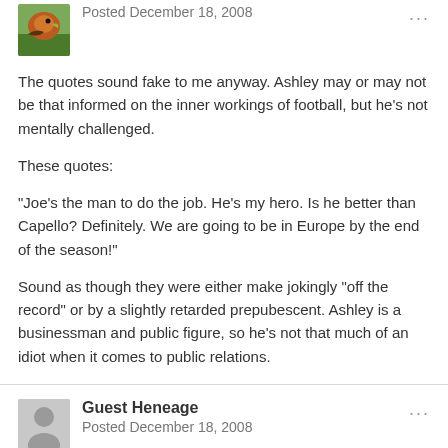[Figure (photo): Avatar image of a bird/nature photo, small square thumbnail]
Posted December 18, 2008
The quotes sound fake to me anyway.  Ashley may or may not be that informed on the inner workings of football, but he's not mentally challenged.

These quotes:

“Joe’s the man to do the job. He’s my hero. Is he better than Capello? Definitely. We are going to be in Europe by the end of the season!"

Sound as though they were either make jokingly "off the record" or by a slightly retarded prepubescent. Ashley is a businessman and public figure, so he's not that much of an idiot when it comes to public relations.
[Figure (illustration): Generic gray silhouette avatar for Guest Heneage]
Guest Heneage
Posted December 18, 2008